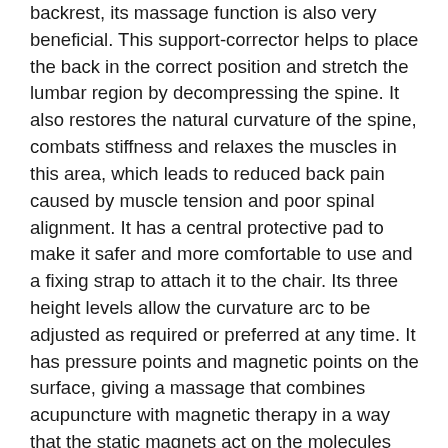backrest, its massage function is also very beneficial. This support-corrector helps to place the back in the correct position and stretch the lumbar region by decompressing the spine. It also restores the natural curvature of the spine, combats stiffness and relaxes the muscles in this area, which leads to reduced back pain caused by muscle tension and poor spinal alignment. It has a central protective pad to make it safer and more comfortable to use and a fixing strap to attach it to the chair. Its three height levels allow the curvature arc to be adjusted as required or preferred at any time. It has pressure points and magnetic points on the surface, giving a massage that combines acupuncture with magnetic therapy in a way that the static magnets act on the molecules and ions of the body generating many beneficial effects. In addition, it is compact, light, portable, easy to transport and store, and is very resistant, supporting up to 100 kg of weight. Recommended for use before or after any physical activity or after periods of prolonged inactivity. Especially indicated for people who spend a lot of time sitting down, working at the computer, or that carry out physical activities that may negatively affect their posture and spine. Ideal for the office